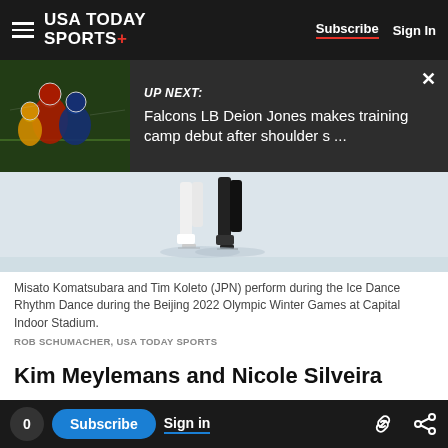USA TODAY SPORTS+  Subscribe  Sign In
[Figure (screenshot): Up Next banner showing football game photo with text: UP NEXT: Falcons LB Deion Jones makes training camp debut after shoulder s ...]
[Figure (photo): Figure skaters legs on ice - Misato Komatsubara and Tim Koleto (JPN) performing Ice Dance Rhythm Dance at Beijing 2022 Olympic Winter Games at Capital Indoor Stadium.]
Misato Komatsubara and Tim Koleto (JPN) perform during the Ice Dance Rhythm Dance during the Beijing 2022 Olympic Winter Games at Capital Indoor Stadium. ROB SCHUMACHER, USA TODAY SPORTS
Kim Meylemans and Nicole Silveira
Belgium's Kim Meylemans and Brazil's Nicole
0  Subscribe  Sign in  [link icon]  [share icon]